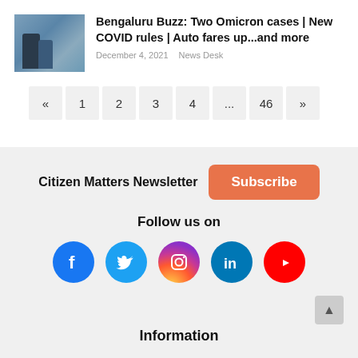Bengaluru Buzz: Two Omicron cases | New COVID rules | Auto fares up...and more
December 4, 2021   News Desk
« 1 2 3 4 ... 46 »
Citizen Matters Newsletter
Subscribe
Follow us on
[Figure (infographic): Social media icons: Facebook, Twitter, Instagram, LinkedIn, YouTube]
Information